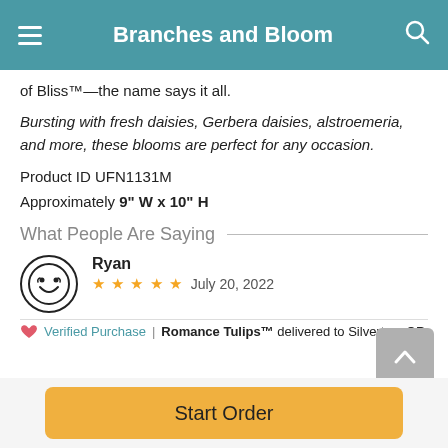Branches and Bloom
of Bliss™—the name says it all.
Bursting with fresh daisies, Gerbera daisies, alstroemeria, and more, these blooms are perfect for any occasion.
Product ID UFN1131M
Approximately 9" W x 10" H
What People Are Saying
Ryan — July 20, 2022 — ★★★★★
Verified Purchase | Romance Tulips™ delivered to Silverton, OR
Start Order